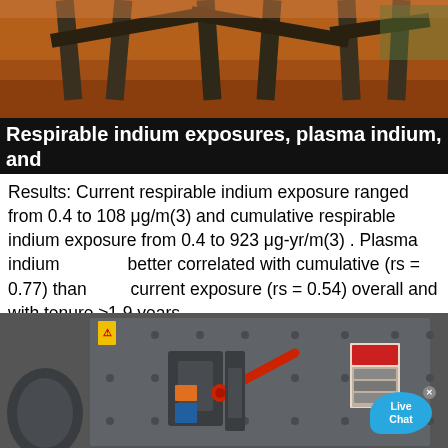[Figure (photo): Top photo showing metal structural framework/scaffold legs on red clay dirt ground outdoors]
Respirable indium exposures, plasma indium, and ...
Results: Current respirable indium exposure ranged from 0.4 to 108 μg/m(3) and cumulative respirable indium exposure from 0.4 to 923 μg-yr/m(3) . Plasma indium better correlated with cumulative (rs = 0.77) than current exposure (rs = 0.54) overall and with tenure ≥1.9 years.
[Figure (photo): Bottom photo showing close-up of industrial grey metal machinery/crusher equipment with red lever/handle, bolts, warning labels, and mechanical components]